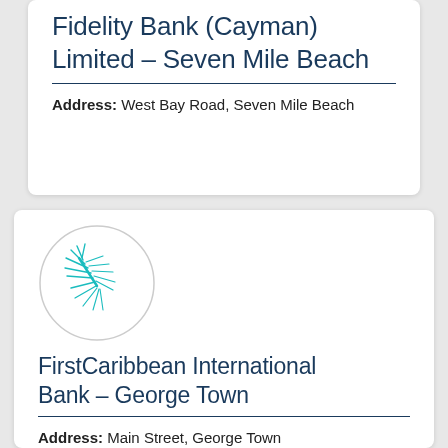Fidelity Bank (Cayman) Limited – Seven Mile Beach
Address: West Bay Road, Seven Mile Beach
[Figure (logo): FirstCaribbean International Bank logo — a teal/turquoise palm frond or starburst design inside a light grey circle]
FirstCaribbean International Bank – George Town
Address: Main Street, George Town